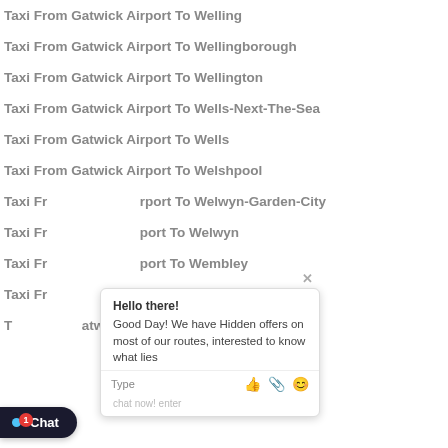Taxi From Gatwick Airport To Welling
Taxi From Gatwick Airport To Wellingborough
Taxi From Gatwick Airport To Wellington
Taxi From Gatwick Airport To Wells-Next-The-Sea
Taxi From Gatwick Airport To Wells
Taxi From Gatwick Airport To Welshpool
Taxi From Gatwick Airport To Welwyn-Garden-City
Taxi From Gatwick Airport To Welwyn
Taxi From Gatwick Airport To Wembley
Taxi From Gatwick Airport To Wemyss Bay
Taxi From Gatwick Airport To West Bromwich